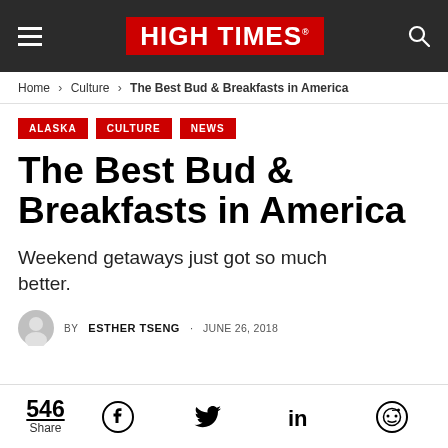HIGH TIMES
Home > Culture > The Best Bud & Breakfasts in America
ALASKA
CULTURE
NEWS
The Best Bud & Breakfasts in America
Weekend getaways just got so much better.
BY ESTHER TSENG · JUNE 26, 2018
546 Share